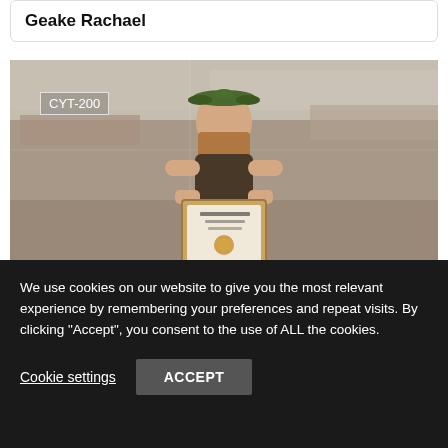Geake Rachael
[Figure (photo): A woman wearing a floral crown holding a framed certificate, standing in front of a rocky/sandy landscape background. A 'CYT-200' label box is overlaid in the top-left of the image.]
Roush Helen
We use cookies on our website to give you the most relevant experience by remembering your preferences and repeat visits. By clicking “Accept”, you consent to the use of ALL the cookies.
Cookie settings
ACCEPT